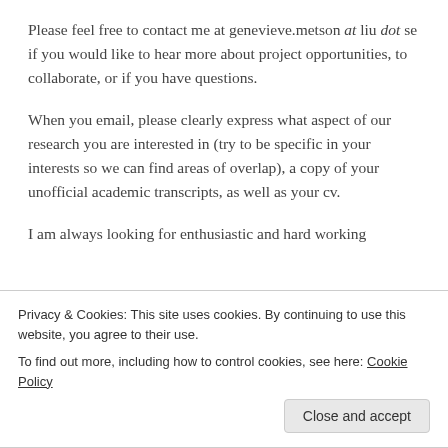Please feel free to contact me at genevieve.metson at liu dot se if you would like to hear more about project opportunities, to collaborate, or if you have questions.
When you email, please clearly express what aspect of our research you are interested in (try to be specific in your interests so we can find areas of overlap), a copy of your unofficial academic transcripts, as well as your cv.
I am always looking for enthusiastic and hard working undergraduate and master's students, PhDs and [partially obscured by cookie banner]
Privacy & Cookies: This site uses cookies. By continuing to use this website, you agree to their use.
To find out more, including how to control cookies, see here: Cookie Policy